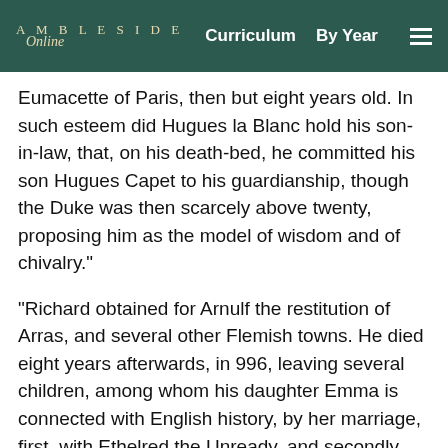AMBLESIDE Online | Curriculum | By Year
Eumacette of Paris, then but eight years old. In such esteem did Hugues la Blanc hold his son-in-law, that, on his death-bed, he committed his son Hugues Capet to his guardianship, though the Duke was then scarcely above twenty, proposing him as the model of wisdom and of chivalry."
"Richard obtained for Arnulf the restitution of Arras, and several other Flemish towns. He died eight years afterwards, in 996, leaving several children, among whom his daughter Emma is connected with English history, by her marriage, first, with Ethelred the Unready, and secondly, with Knute, the grandson of his firm friend and ally, Harald Blue-tooth. His son was Richard, called the Good; his grandson, Robert the Magnificent; his